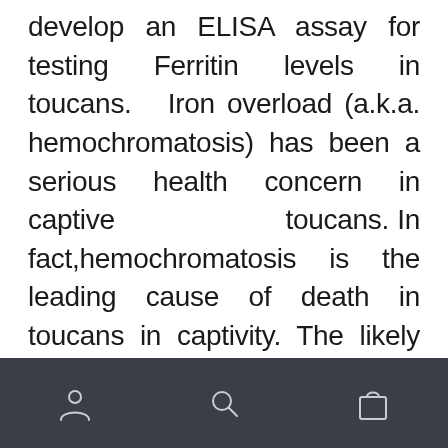develop an ELISA assay for testing Ferritin levels in toucans. Iron overload (a.k.a. hemochromatosis) has been a serious health concern in captive toucans. In fact,hemochromatosis is the leading cause of death in toucans in captivity. The likely cause is dietary as toucans have physiological mechanisms to efficiently extract iron from iron-deficient diets so when
[navigation bar with user, search, and cart icons]